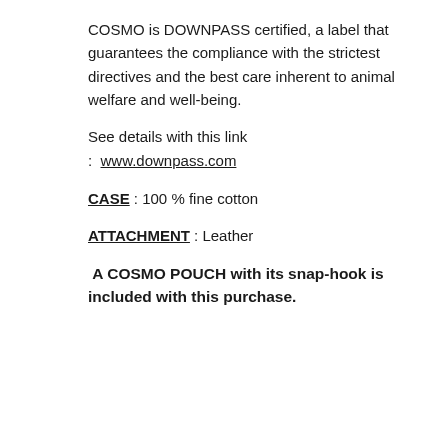COSMO is DOWNPASS certified, a label that guarantees the compliance with the strictest directives and the best care inherent to animal welfare and well-being.
See details with this link
: www.downpass.com
CASE : 100 % fine cotton
ATTACHMENT : Leather
A COSMO POUCH with its snap-hook is included with this purchase.